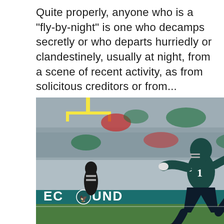Quite properly, anyone who is a "fly-by-night" is one who decamps secretly or who departs hurriedly or clandestinely, usually at night, from a scene of recent activity, as from solicitous creditors or from...
[Figure (photo): An NFL football player wearing Philadelphia Eagles teal/midnight green jersey number 1 with a captain's C patch, in mid-stride on the field, with a packed stadium crowd in the background and a yellow goalpost visible at the top. Sideline advertising boards show partial text 'FUND...' in white on teal background.]